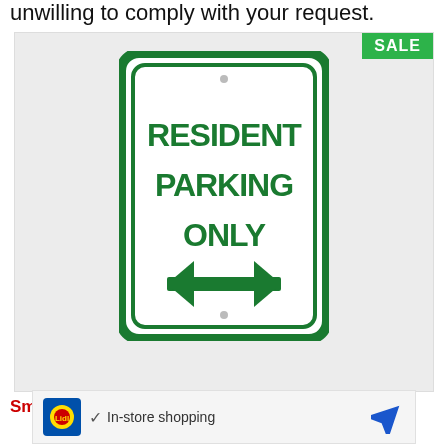unwilling to comply with your request.
[Figure (photo): Product photo of a SmartSign Resident Parking Only sign with green border and green double-headed arrow, on a white background with a green SALE badge in the top right corner.]
SmartSign - K-8430-B-DG-12x18 "Resident
[Figure (infographic): Advertisement banner for Lidl showing Lidl logo, checkmark with 'In-store shopping' text, and a navigation/direction icon.]